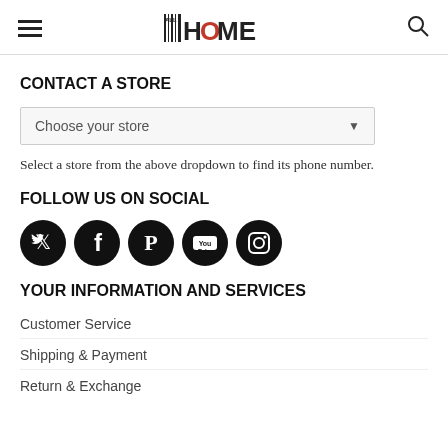ALL HOME — navigation header with hamburger menu, logo, and search icon
CONTACT A STORE
[Figure (screenshot): Dropdown select input labeled 'Choose your store']
Select a store from the above dropdown to find its phone number.
FOLLOW US ON SOCIAL
[Figure (illustration): Five black circular social media icons: Twitter, Facebook, Pinterest, YouTube, Instagram]
YOUR INFORMATION AND SERVICES
Customer Service
Shipping & Payment
Return & Exchange